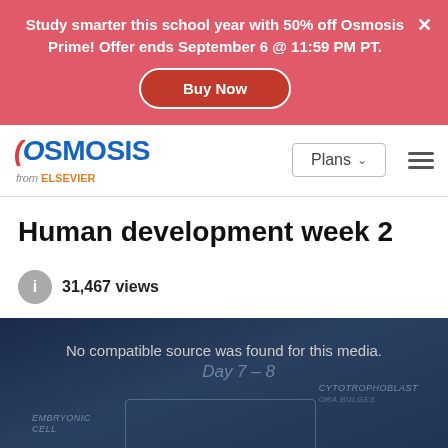Study smarter this school year with 50% off Osmosis Prime! Offer ends September 6 @ 11:59 PM PT. Buy Now
[Figure (screenshot): Osmosis from Elsevier navigation bar with Plans dropdown and hamburger menu]
Human development week 2
31,467 views
[Figure (screenshot): Video player showing 'No compatible source was found for this media.' with a dark blue background and an embryology diagram partially visible, showing labels: Day 7-8, Embryonic Cell, Cytotrophoblast, Syncytiotrophoblast, Decidua, and a large X mark]